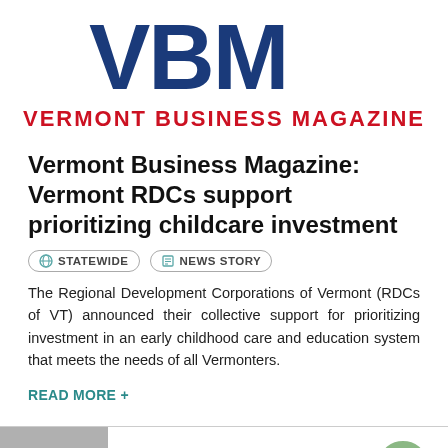[Figure (logo): Vermont Business Magazine logo with large blue VBM letters and red text VERMONT BUSINESS MAGAZINE below]
Vermont Business Magazine: Vermont RDCs support prioritizing childcare investment
STATEWIDE   NEWS STORY
The Regional Development Corporations of Vermont (RDCs of VT) announced their collective support for prioritizing investment in an early childhood care and education system that meets the needs of all Vermonters.
READ MORE +